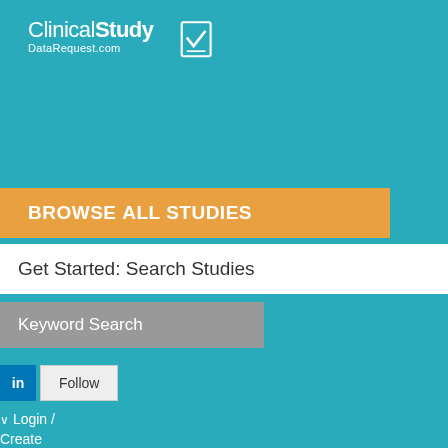[Figure (logo): ClinicalStudyDataRequest.com logo with checkbox icon on teal background]
Browse ALL STUDIES
Get Started: Search Studies
Keyword Search
Follow
Login / Create Account
|  |  | Title |  |
| --- | --- | --- | --- |
|  |  | CONFIRMATION OF ITS PREDICTIVE VALUE AND IMPACT OF MARAVIROC IN TREATMENT-EXPERIENCED PATIENTS |  |
| 946 | GSK | Assessing models for changes in tumour | Raluca Eftimie |